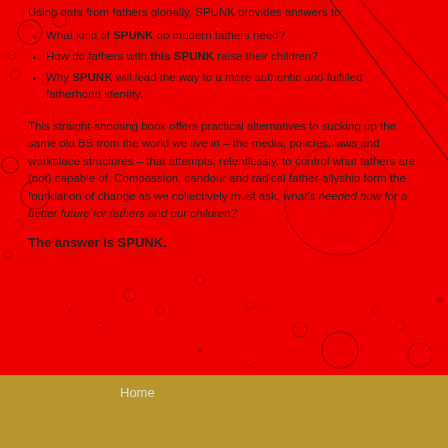Using data from fathers globally, SPUNK provides answers to:
What kind of SPUNK do modern fathers need?
How do fathers with this SPUNK raise their children?
Why SPUNK will lead the way to a more authentic and fulfilled fatherhood identity.
This straight-shooting book offers practical alternatives to sucking up the same old BS from the world we live in – the media, policies, laws and workplace structures – that attempts, relentlessly, to control what fathers are (not) capable of. Compassion, candour and radical father-allyship form the foundation of change as we collectively must ask, what's needed now for a better future for fathers and our children?
The answer is SPUNK.
Home